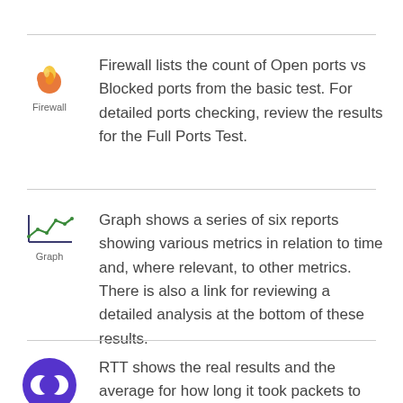[Figure (illustration): Firewall icon: flame/fire emoji-style icon with label 'Firewall' below]
Firewall lists the count of Open ports vs Blocked ports from the basic test. For detailed ports checking, review the results for the Full Ports Test.
[Figure (illustration): Graph icon: small line chart icon with label 'Graph' below]
Graph shows a series of six reports showing various metrics in relation to time and, where relevant, to other metrics. There is also a link for reviewing a detailed analysis at the bottom of these results.
[Figure (illustration): RTT icon: purple circle with two overlapping circles symbol, label 'RTT' below]
RTT shows the real results and the average for how long it took packets to get from your device to the testing server and back.
[Figure (illustration): Up arrow icon in a bordered square box]